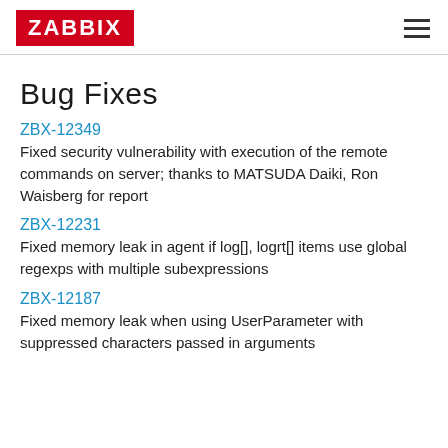ZABBIX
Bug Fixes
ZBX-12349
Fixed security vulnerability with execution of the remote commands on server; thanks to MATSUDA Daiki, Ron Waisberg for report
ZBX-12231
Fixed memory leak in agent if log[], logrt[] items use global regexps with multiple subexpressions
ZBX-12187
Fixed memory leak when using UserParameter with suppressed characters passed in arguments